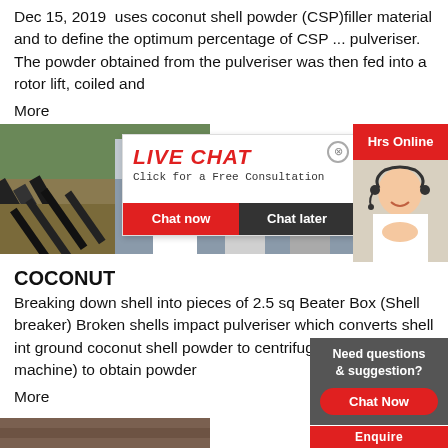Dec 15, 2019  uses coconut shell powder (CSP)filler material and to define the optimum percentage of CSP ... pulveriser. The powder obtained from the pulveriser was then fed into a rotor lift, coiled and
More
[Figure (photo): Industrial conveyor/machinery on left; workers in yellow hard hats in center; live chat popup overlay with worker and 'LIVE CHAT Click for a Free Consultation' text; Chat now and Chat later buttons; agent photo on right side]
COCONUT
Breaking down shell into pieces of 2.5 sq Beater Box (Shell breaker) Broken shells impact pulveriser which converts shell int ground coconut shell powder to centrifug sieving machine) to obtain powder
More